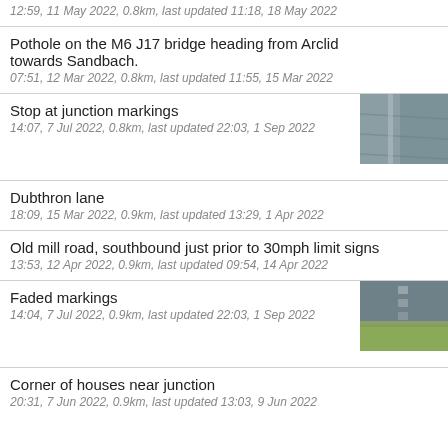12:59, 11 May 2022, 0.8km, last updated 11:18, 18 May 2022
Pothole on the M6 J17 bridge heading from Arclid towards Sandbach.
07:51, 12 Mar 2022, 0.8km, last updated 11:55, 15 Mar 2022
Stop at junction markings
14:07, 7 Jul 2022, 0.8km, last updated 22:03, 1 Sep 2022
Dubthron lane
18:09, 15 Mar 2022, 0.9km, last updated 13:29, 1 Apr 2022
Old mill road, southbound just prior to 30mph limit signs
13:53, 12 Apr 2022, 0.9km, last updated 09:54, 14 Apr 2022
Faded markings
14:04, 7 Jul 2022, 0.9km, last updated 22:03, 1 Sep 2022
Corner of houses near junction
20:31, 7 Jun 2022, 0.9km, last updated 13:03, 9 Jun 2022